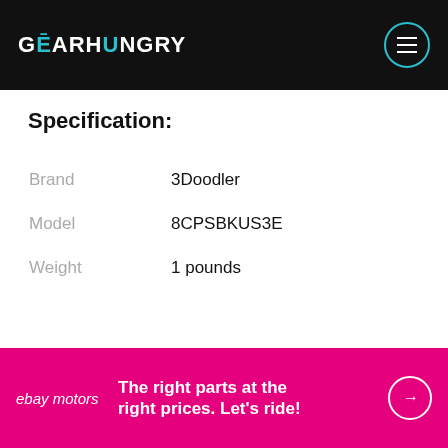GEARHUNGRY
Specification:
| Attribute | Value |
| --- | --- |
| Brand | 3Doodler |
| Model | 8CPSBKUS3E |
| Weight | 1 pounds |
[Figure (screenshot): BUY ON AMAZON orange button with arrow]
[Figure (infographic): eBay Motors advertisement banner: The right parts at the right prices. Let's ride!]